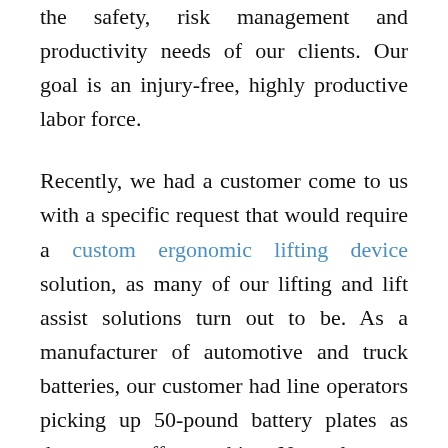the safety, risk management and productivity needs of our clients. Our goal is an injury-free, highly productive labor force.
Recently, we had a customer come to us with a specific request that would require a custom ergonomic lifting device solution, as many of our lifting and lift assist solutions turn out to be. As a manufacturer of automotive and truck batteries, our customer had line operators picking up 50-pound battery plates as they came off a machine. Not only were they heavy, but